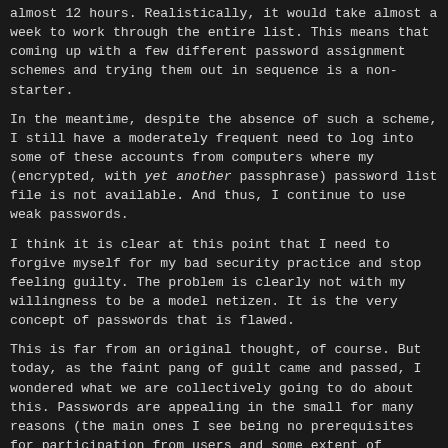almost 12 hours. Realistically, it would take almost a week to work through the entire list. This means that coming up with a few different password assignment schemes and trying them out in sequence is a non-starter.
In the meantime, despite the absence of such a scheme, I still have a moderately frequent need to log into some of these accounts from computers where my (encrypted, with yet another passphrase) password list file is not available. And thus, I continue to use weak passwords.
I think it is clear at this point that I need to forgive myself for my bad security practice and stop feeling guilty. The problem is clearly not with my willingness to be a model netizen. It is the very concept of passwords that is flawed.
This is far from an original thought, of course. But today, as the faint pang of guilt came and passed, I wondered what we are collectively going to do about this. Passwords are appealing in the small for many reasons (the main ones I see being no prerequisites for participation from users and some extent of plausible deniability for system creators). None of the alternative proposals seem to scale down to the same extent. Worse than all of this, none of the alternatives even try to address the problem of migrating a huge number of accounts away from weak passwords.
This needs fixing. And the only viable solution will be a brutally simple one – as simple as passwords are brutal.